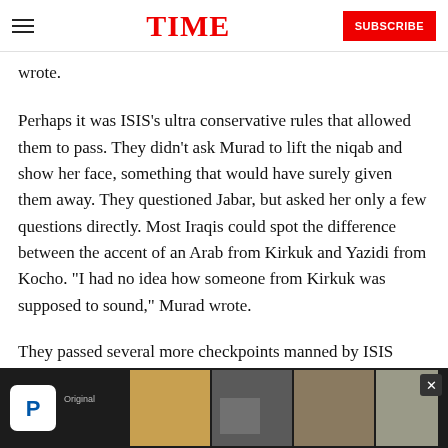TIME | SUBSCRIBE
wrote.
Perhaps it was ISIS’s ultra conservative rules that allowed them to pass. They didn’t ask Murad to lift the niqab and show her face, something that would have surely given them away. They questioned Jabar, but asked her only a few questions directly. Most Iraqis could spot the difference between the accent of an Arab from Kirkuk and Yazidi from Kocho. “I had no idea how someone from Kirkuk was supposed to sound,” Murad wrote.
They passed several more checkpoints manned by ISIS before...
[Figure (other): Advertisement banner for Paramount Original content showing a man in suit and collage of images with a close button X]